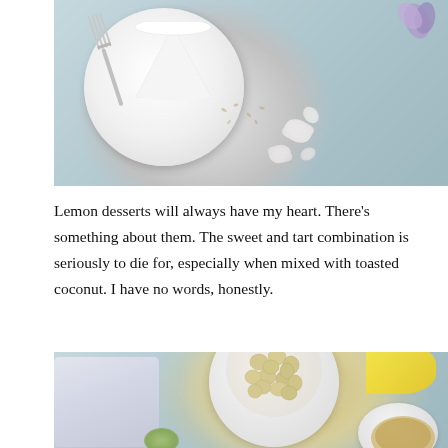[Figure (photo): Overhead/top-down photo of a white plate with a slice of white cheesecake or lemon tart with a fork, on a light blue/grey surface with scattered white flower petals and a purple flower in the upper right corner.]
Lemon desserts will always have my heart. There's something about them. The sweet and tart combination is seriously to die for, especially when mixed with toasted coconut. I have no words, honestly.
[Figure (photo): Overhead/top-down photo of baking ingredients on a light blue surface: a white ramekin filled with macadamia nuts in the center, a lemon wedge in the upper right, a white cloth/napkin on the left, lime pieces in the lower center, and a small bowl with what appears to be ground nuts or crumbs in the lower right.]